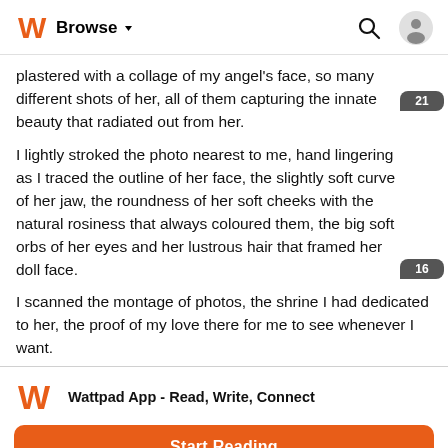Browse
plastered with a collage of my angel's face, so many different shots of her, all of them capturing the innate beauty that radiated out from her.
I lightly stroked the photo nearest to me, hand lingering as I traced the outline of her face, the slightly soft curve of her jaw, the roundness of her soft cheeks with the natural rosiness that always coloured them, the big soft orbs of her eyes and her lustrous hair that framed her doll face.
I scanned the montage of photos, the shrine I had dedicated to her, the proof of my love there for me to see whenever I want.
Wattpad App - Read, Write, Connect
Start Reading
Log in with Browser